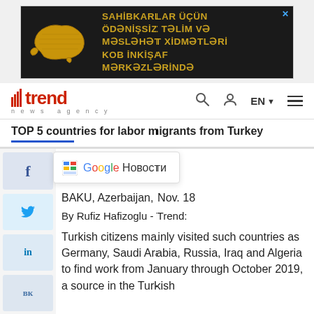[Figure (illustration): Advertisement banner with map shape of Azerbaijan in gold color and Azerbaijani text about free training and consultation services at KOB development centers]
[Figure (logo): Trend News Agency logo in red with navigation icons (search, user, EN language selector, hamburger menu)]
TOP 5 countries for labor migrants from Turkey
[Figure (screenshot): Google Новости (Google News) popup button with Google icon]
BAKU, Azerbaijan, Nov. 18
By Rufiz Hafizoglu - Trend:
Turkish citizens mainly visited such countries as Germany, Saudi Arabia, Russia, Iraq and Algeria to find work from January through October 2019, a source in the Turkish